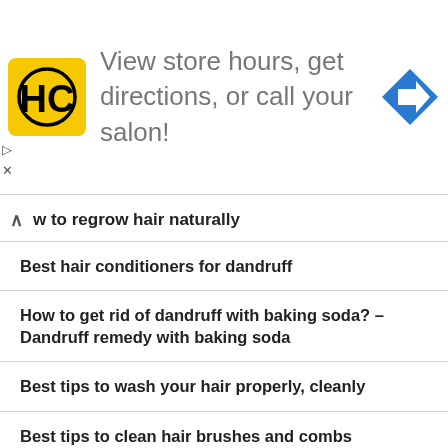[Figure (screenshot): Hair salon ad banner with HC logo, text 'View store hours, get directions, or call your salon!', and a blue diamond direction arrow icon]
w to regrow hair naturally
Best hair conditioners for dandruff
How to get rid of dandruff with baking soda? – Dandruff remedy with baking soda
Best tips to wash your hair properly, cleanly
Best tips to clean hair brushes and combs
Herbal supplements for dandruff
How to get rid of frizzy hair
How to make hair thick and strong from roots